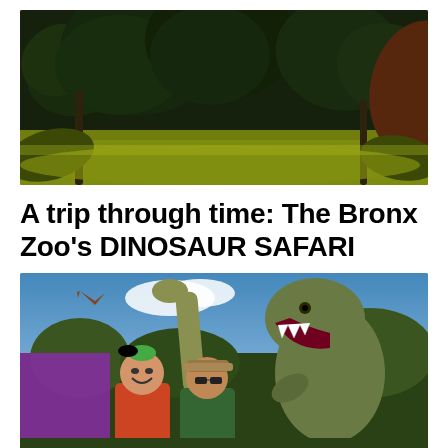[Figure (photo): Lush prehistoric-looking jungle vegetation with large fern fronds and palm-like plants, with yellow-green ground cover in the foreground. Dark, moody lighting.]
A trip through time: The Bronx Zoo's DINOSAUR SAFARI
[Figure (photo): Two people (a woman and a man) posing with large realistic dinosaur models at the Bronx Zoo Dinosaur Safari — a T-Rex with open roaring mouth behind them, a long-neck dinosaur (brachiosaurus) to their left, and a flying pterosaur in the blue sky background. The woman wears a green hair bow and smiles broadly.]